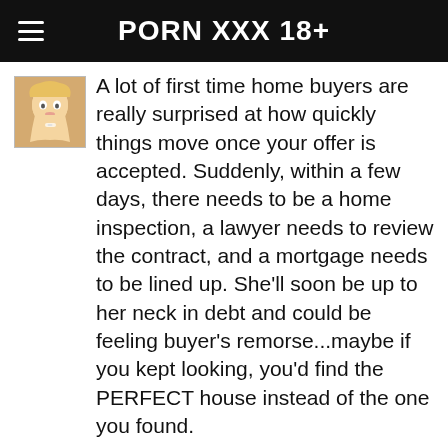PORN XXX 18+
A lot of first time home buyers are really surprised at how quickly things move once your offer is accepted. Suddenly, within a few days, there needs to be a home inspection, a lawyer needs to review the contract, and a mortgage needs to be lined up. She'll soon be up to her neck in debt and could be feeling buyer's remorse...maybe if you kept looking, you'd find the PERFECT house instead of the one you found.
Mine at 21.11.2019 at 07:35
I recently got out of a relationship (about 2 months ago) and have a huge crush on a really close friend of mine. Problem is, he just started dating someone (of course...). I know I can't really do anything to "fix" that, but I need to figure out how to not go crazy. I am